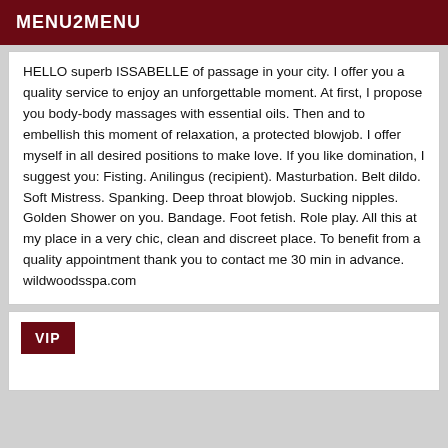MENU2MENU
HELLO superb ISSABELLE of passage in your city. I offer you a quality service to enjoy an unforgettable moment. At first, I propose you body-body massages with essential oils. Then and to embellish this moment of relaxation, a protected blowjob. I offer myself in all desired positions to make love. If you like domination, I suggest you: Fisting. Anilingus (recipient). Masturbation. Belt dildo. Soft Mistress. Spanking. Deep throat blowjob. Sucking nipples. Golden Shower on you. Bandage. Foot fetish. Role play. All this at my place in a very chic, clean and discreet place. To benefit from a quality appointment thank you to contact me 30 min in advance. wildwoodsspa.com
VIP